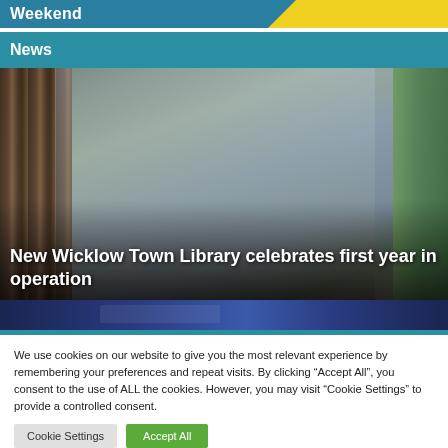Weekend
News
[Figure (photo): Three women standing together smiling inside Wicklow Town Library, with bookshelves visible in the background]
New Wicklow Town Library celebrates first year in operation
[Figure (photo): Secondary image strip — partial view of another library-related image with dark blue background]
We use cookies on our website to give you the most relevant experience by remembering your preferences and repeat visits. By clicking “Accept All”, you consent to the use of ALL the cookies. However, you may visit "Cookie Settings" to provide a controlled consent.
Cookie Settings
Accept All